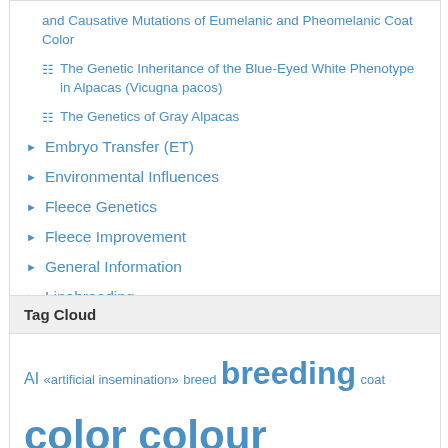and Causative Mutations of Eumelanic and Pheomelanic Coat Color
The Genetic Inheritance of the Blue-Eyed White Phenotype in Alpacas (Vicugna pacos)
The Genetics of Gray Alpacas
Embryo Transfer (ET)
Environmental Influences
Fleece Genetics
Fleece Improvement
General Information
Linebreeding
Tag Cloud
AI «artificial insemination» breed breeding coat color colour